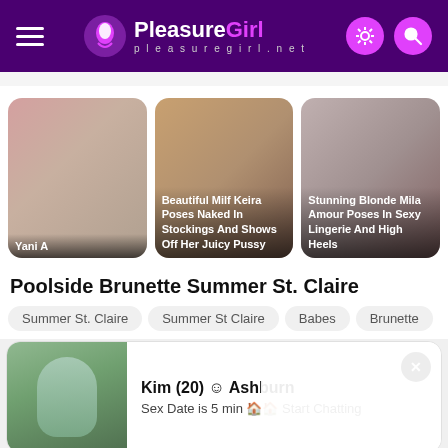PleasureGirl pleasuregirl.net
[Figure (photo): Three thumbnail cards showing models. Card 1: Yani A. Card 2: Beautiful Milf Keira Poses Naked In Stockings And Shows Off Her Juicy Pussy. Card 3: Stunning Blonde Mila Amour Poses In Sexy Lingerie And High Heels.]
Poolside Brunette Summer St. Claire
Summer St. Claire
Summer St Claire
Babes
Brunette
[Figure (photo): Promotional box with model photo and text: Kim (20) Ashburn - Sex Date is 5 min Start Chatting]
[Figure (photo): Two partial thumbnail images at bottom of page]